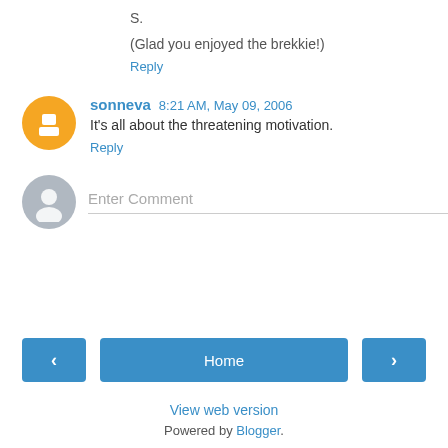S.

(Glad you enjoyed the brekkie!)
Reply
sonneva  8:21 AM, May 09, 2006
It's all about the threatening motivation.
Reply
Enter Comment
Home  View web version  Powered by Blogger.